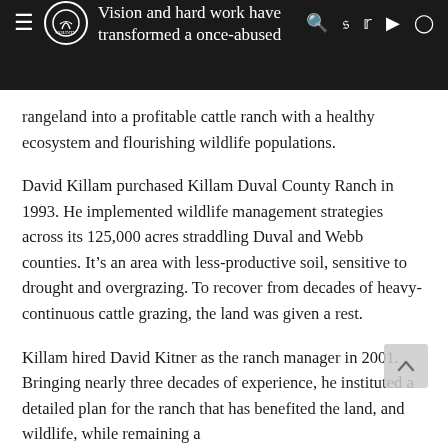Vision and hard work have transformed a once-abused
rangeland into a profitable cattle ranch with a healthy ecosystem and flourishing wildlife populations.
David Killam purchased Killam Duval County Ranch in 1993. He implemented wildlife management strategies across its 125,000 acres straddling Duval and Webb counties. It’s an area with less-productive soil, sensitive to drought and overgrazing. To recover from decades of heavy-continuous cattle grazing, the land was given a rest.
Killam hired David Kitner as the ranch manager in 2001. Bringing nearly three decades of experience, he instituted a detailed plan for the ranch that has benefited the land, and wildlife, while remaining a